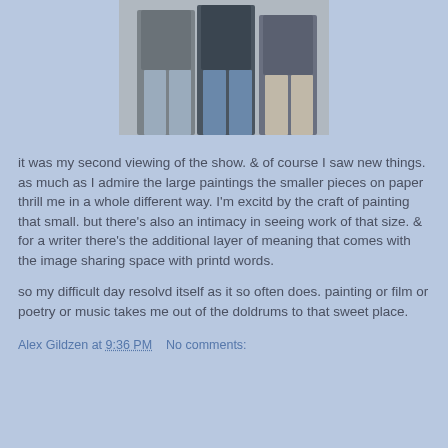[Figure (photo): Three people standing together, cropped to show their bodies from approximately chest to feet. They are wearing casual clothing including jeans and jackets. Background appears to be an indoor setting.]
it was my second viewing of the show. & of course I saw new things. as much as I admire the large paintings the smaller pieces on paper thrill me in a whole different way. I'm excitd by the craft of painting that small. but there's also an intimacy in seeing work of that size. & for a writer there's the additional layer of meaning that comes with the image sharing space with printd words.
so my difficult day resolvd itself as it so often does. painting or film or poetry or music takes me out of the doldrums to that sweet place.
Alex Gildzen at 9:36 PM    No comments: